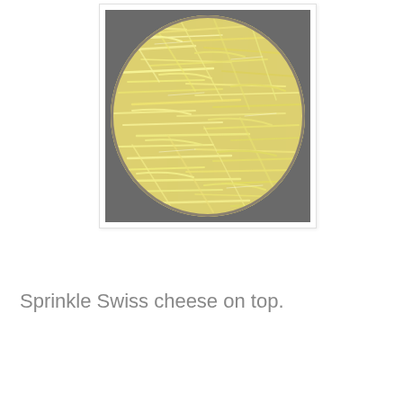[Figure (photo): Close-up overhead view of shredded Swiss cheese covering the top of a round baking pan.]
Sprinkle Swiss cheese on top.